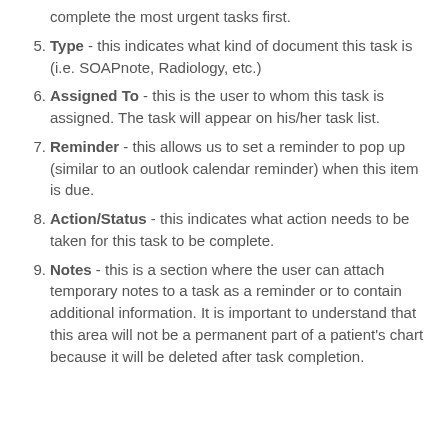complete the most urgent tasks first.
Type - this indicates what kind of document this task is (i.e. SOAPnote, Radiology, etc.)
Assigned To - this is the user to whom this task is assigned. The task will appear on his/her task list.
Reminder - this allows us to set a reminder to pop up (similar to an outlook calendar reminder) when this item is due.
Action/Status - this indicates what action needs to be taken for this task to be complete.
Notes - this is a section where the user can attach temporary notes to a task as a reminder or to contain additional information. It is important to understand that this area will not be a permanent part of a patient's chart because it will be deleted after task completion.